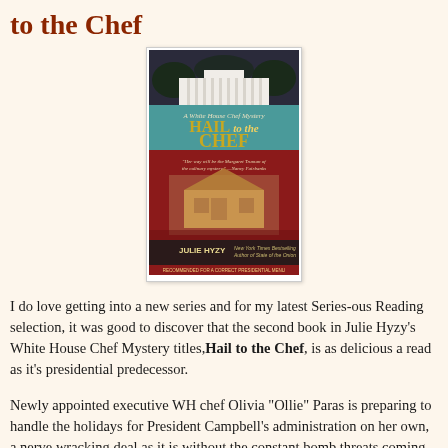to the Chef
[Figure (photo): Book cover of 'Hail to the Chef' by Julie Hyzy, a White House Chef Mystery. Shows the White House at top, teal banner with title, gingerbread house display, and author name at bottom.]
I do love getting into a new series and for my latest Series-ous Reading selection, it was good to discover that the second book in Julie Hyzy's White House Chef Mystery titles, Hail to the Chef, is as delicious a read as it's presidential predecessor.
Newly appointed executive WH chef Olivia "Ollie" Paras is preparing to handle the holidays for President Campbell's administration on her own, a nerve wracking deal as it is without the constant bomb threats coming into the building.